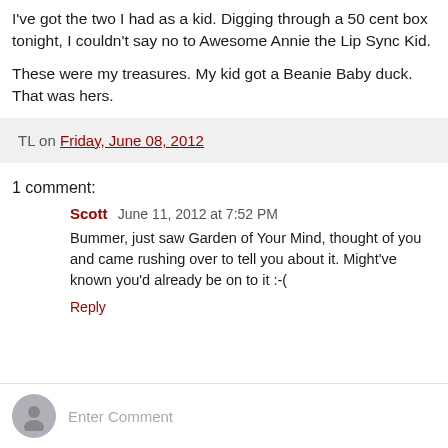I've got the two I had as a kid. Digging through a 50 cent box tonight, I couldn't say no to Awesome Annie the Lip Sync Kid.
These were my treasures. My kid got a Beanie Baby duck. That was hers.
TL on Friday, June 08, 2012
1 comment:
Scott  June 11, 2012 at 7:52 PM
Bummer, just saw Garden of Your Mind, thought of you and came rushing over to tell you about it. Might've known you'd already be on to it :-(
Reply